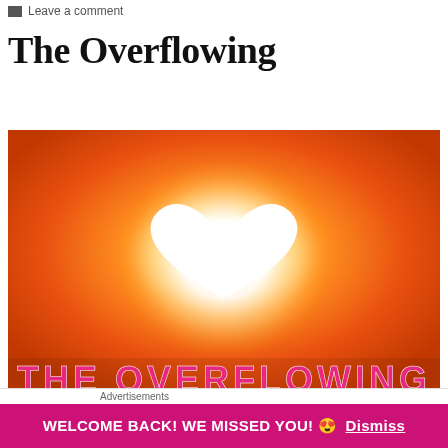Leave a comment
The Overflowing
[Figure (illustration): Book cover image with orange/gradient background and a white heart shape glowing at center like a sun. Bottom text reads 'THE OVERFLOWING' in pink/magenta letters.]
Advertisements
WELCOME BACK! WE MISSED YOU! 😍 Dismiss